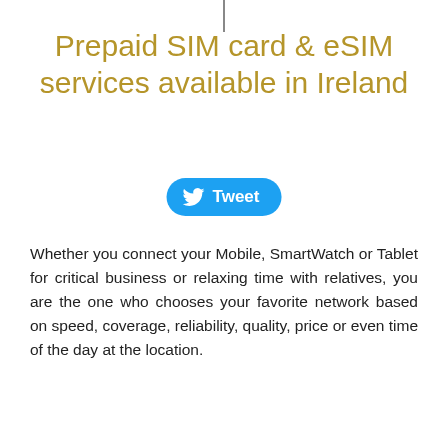Prepaid SIM card & eSIM services available in Ireland
[Figure (other): Tweet button with Twitter bird icon on blue rounded rectangle background]
Whether you connect your Mobile, SmartWatch or Tablet for critical business or relaxing time with relatives, you are the one who chooses your favorite network based on speed, coverage, reliability, quality, price or even time of the day at the location.
We offer multiple prepaid plans from “Pay as you go” to various discounted DayPass plans available on the fly, from Data, Voice to text
[Figure (photo): Mobility Pass SIM card with QR code and blue gradient design, partially visible at bottom of page]